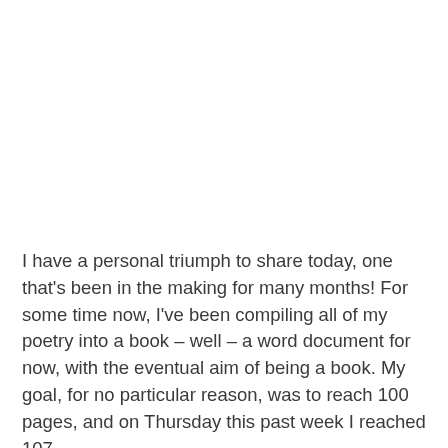I have a personal triumph to share today, one that's been in the making for many months! For some time now, I've been compiling all of my poetry into a book – well – a word document for now, with the eventual aim of being a book. My goal, for no particular reason, was to reach 100 pages, and on Thursday this past week I reached 107.